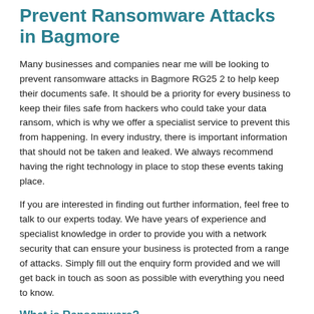Prevent Ransomware Attacks in Bagmore
Many businesses and companies near me will be looking to prevent ransomware attacks in Bagmore RG25 2 to help keep their documents safe. It should be a priority for every business to keep their files safe from hackers who could take your data ransom, which is why we offer a specialist service to prevent this from happening. In every industry, there is important information that should not be taken and leaked. We always recommend having the right technology in place to stop these events taking place.
If you are interested in finding out further information, feel free to talk to our experts today. We have years of experience and specialist knowledge in order to provide you with a network security that can ensure your business is protected from a range of attacks. Simply fill out the enquiry form provided and we will get back in touch as soon as possible with everything you need to know.
What is Ransomware?
Ransomware is a type of malicious software that will hack onto